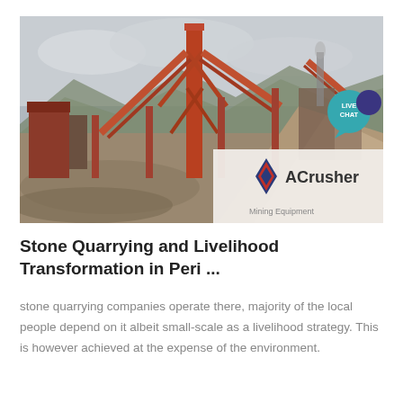[Figure (photo): Industrial stone quarrying/crushing facility with large orange metal structures, conveyor belts, machinery, gravel piles, mountains in background. ACrusher Mining Equipment logo overlay in bottom right of image.]
Stone Quarrying and Livelihood Transformation in Peri ...
stone quarrying companies operate there, majority of the local people depend on it albeit small-scale as a livelihood strategy. This is however achieved at the expense of the environment.